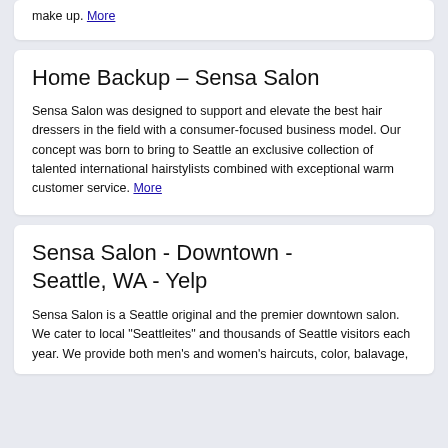make up. More
Home Backup – Sensa Salon
Sensa Salon was designed to support and elevate the best hair dressers in the field with a consumer-focused business model. Our concept was born to bring to Seattle an exclusive collection of talented international hairstylists combined with exceptional warm customer service. More
Sensa Salon - Downtown - Seattle, WA - Yelp
Sensa Salon is a Seattle original and the premier downtown salon. We cater to local "Seattleites" and thousands of Seattle visitors each year. We provide both men's and women's haircuts, color, balavage,